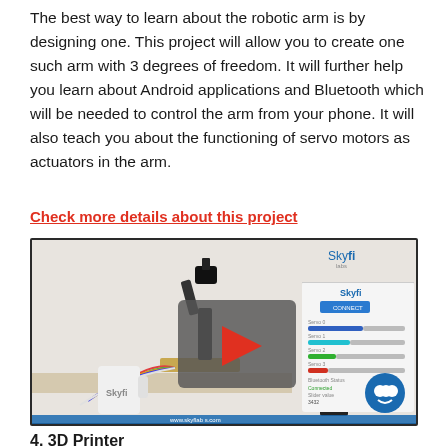The best way to learn about the robotic arm is by designing one. This project will allow you to create one such arm with 3 degrees of freedom. It will further help you learn about Android applications and Bluetooth which will be needed to control the arm from your phone. It will also teach you about the functioning of servo motors as actuators in the arm.
Check more details about this project
[Figure (photo): Video thumbnail showing a robotic arm with colorful wires on a wooden base next to a Skyfi-branded mug, with a mobile app UI showing servo sliders overlaid on the right side, a red play button in the center, Skyfi Labs logo top right, and a chat bubble icon bottom right.]
4. 3D Printer